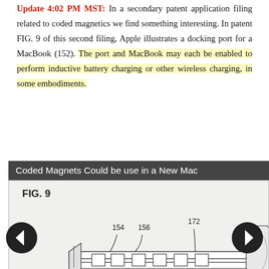Update 4:02 PM MST: In a secondary patent application filing related to coded magnetics we find something interesting. In patent FIG. 9 of this second filing, Apple illustrates a docking port for a MacBook (152). The port and MacBook may each be enabled to perform inductive battery charging or other wireless charging, in some embodiments.
[Figure (engineering-diagram): Patent diagram showing FIG. 9 with reference numerals 154, 156, 172. Title bar reads 'Coded Magnets Could be use in a New Mac'. Shows a cross-sectional view of what appears to be a docking port mechanism with labeled components.]